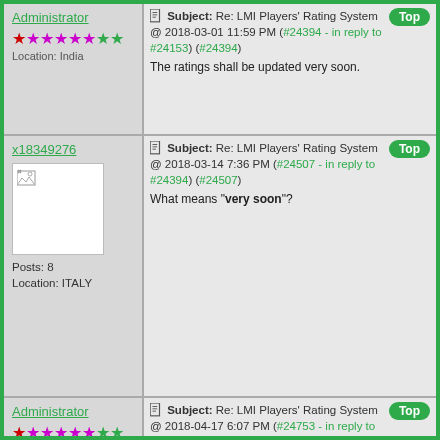Administrator
Subject: Re: LMI Players' Rating System @ 2018-03-01 11:59 PM (#24394 - in reply to #24153) (#24394)
The ratings shall be updated very soon.
x18349276
Subject: Re: LMI Players' Rating System @ 2018-03-14 7:36 PM (#24507 - in reply to #24394) (#24507)
What means "very soon"?
Posts: 8
Location: ITALY
Administrator
Subject: Re: LMI Players' Rating System @ 2018-04-17 6:07 PM (#24753 - in reply to #1357) (#24753)
Apologies for a long delay in ratings update.
The Puzzle and Sudoku Ratings are now up to date...